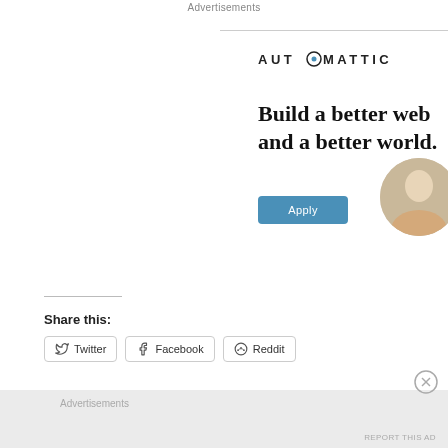Advertisements
[Figure (logo): AUTOMATTIC logo with stylized O containing a compass/target symbol]
Build a better web and a better world.
[Figure (illustration): Circular cropped photo of a person working at a desk/computer]
Apply
Share this:
Twitter
Facebook
Reddit
Advertisements